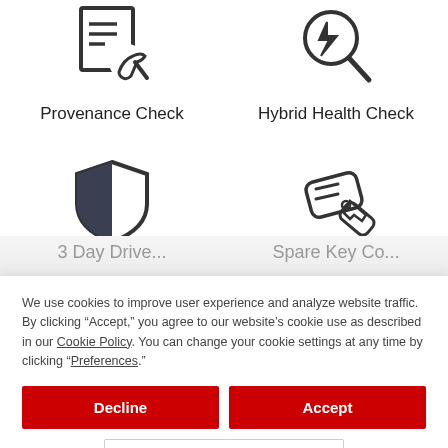[Figure (illustration): Icon of a document with a wrench/tool — Provenance Check icon]
[Figure (illustration): Icon of a magnifying glass with a lightning bolt — Hybrid Health Check icon]
Provenance Check
Hybrid Health Check
[Figure (illustration): Icon of a shield with half dark fill — protection/security icon]
[Figure (illustration): Icon of a car key fob — Spare Key icon]
We use cookies to improve user experience and analyze website traffic. By clicking “Accept,” you agree to our website’s cookie use as described in our Cookie Policy. You can change your cookie settings at any time by clicking “Preferences.”
Decline
Accept
Preferences